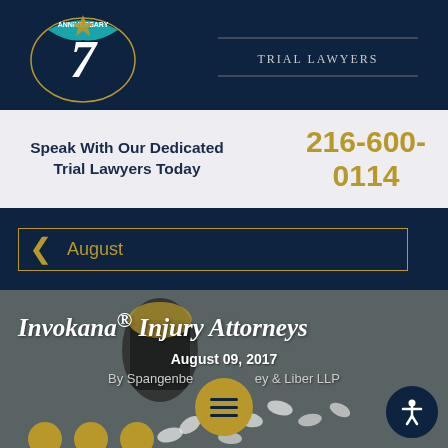[Figure (logo): Law firm anniversary logo and Trial Lawyers text logo on dark navy background]
Speak With Our Dedicated Trial Lawyers Today
216-600-0114
August
Invokana® Injury Attorneys
August 09, 2017
By Spangenbe[rg Shibley] & Liber LLP